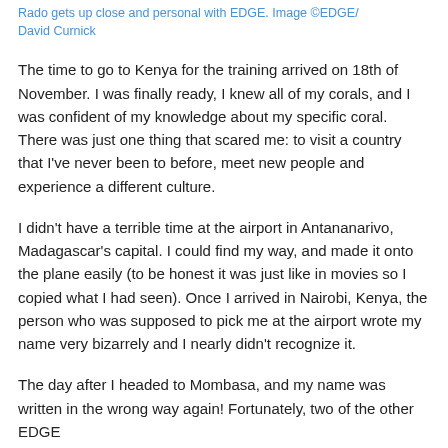Rado gets up close and personal with EDGE. Image ©EDGE/ David Curnick
The time to go to Kenya for the training arrived on 18th of November. I was finally ready, I knew all of my corals, and I was confident of my knowledge about my specific coral. There was just one thing that scared me: to visit a country that I've never been to before, meet new people and experience a different culture.
I didn't have a terrible time at the airport in Antananarivo, Madagascar's capital. I could find my way, and made it onto the plane easily (to be honest it was just like in movies so I copied what I had seen). Once I arrived in Nairobi, Kenya, the person who was supposed to pick me at the airport wrote my name very bizarrely and I nearly didn't recognize it.
The day after I headed to Mombasa, and my name was written in the wrong way again! Fortunately, two of the other EDGE